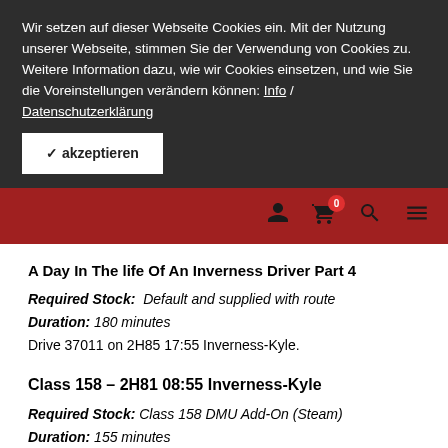Wir setzen auf dieser Webseite Cookies ein. Mit der Nutzung unserer Webseite, stimmen Sie der Verwendung von Cookies zu. Weitere Information dazu, wie wir Cookies einsetzen, und wie Sie die Voreinstellungen verändern können: Info / Datenschutzerklärung
✓ akzeptieren
[Figure (screenshot): Website navigation bar with red background showing user icon, cart icon with badge '0', search icon, and hamburger menu icon]
A Day In The life Of An Inverness Driver Part 4
Required Stock:  Default and supplied with route
Duration: 180 minutes
Drive 37011 on 2H85 17:55 Inverness-Kyle.
Class 158 – 2H81 08:55 Inverness-Kyle
Required Stock: Class 158 DMU Add-On (Steam)
Duration: 155 minutes
Drive a Class 158 on the 2015 timetable from Inverness to Kyle of Lochalsh. The service is 2H81 08:55 Inverness-Kyle of Lochalsh, arriving at Kyle at 11:30.